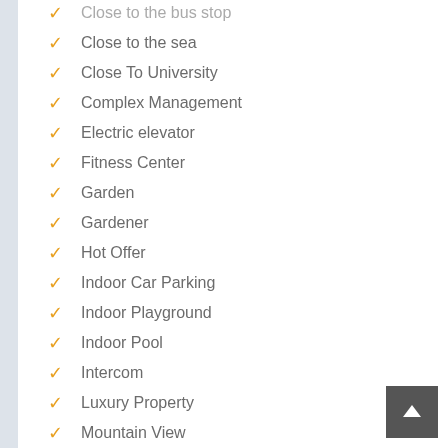Close to the bus stop
Close to the sea
Close To University
Complex Management
Electric elevator
Fitness Center
Garden
Gardener
Hot Offer
Indoor Car Parking
Indoor Playground
Indoor Pool
Intercom
Luxury Property
Mountain View